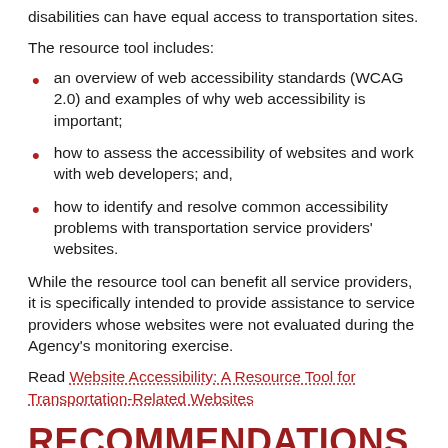disabilities can have equal access to transportation sites.
The resource tool includes:
an overview of web accessibility standards (WCAG 2.0) and examples of why web accessibility is important;
how to assess the accessibility of websites and work with web developers; and,
how to identify and resolve common accessibility problems with transportation service providers' websites.
While the resource tool can benefit all service providers, it is specifically intended to provide assistance to service providers whose websites were not evaluated during the Agency's monitoring exercise.
Read Website Accessibility: A Resource Tool for Transportation-Related Websites
RECOMMENDATIONS RELATED TO PEANUT, NUT